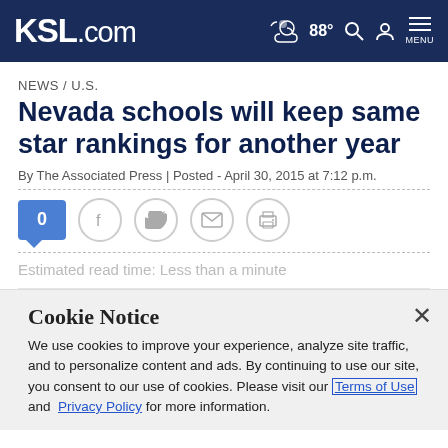KSL.com | 88° MENU
NEWS / U.S.
Nevada schools will keep same star rankings for another year
By The Associated Press | Posted - April 30, 2015 at 7:12 p.m.
[Figure (infographic): Social sharing bar with comment count (0), Facebook, Twitter, email, and print icons]
Estimated read time: Less than a minute
Cookie Notice
We use cookies to improve your experience, analyze site traffic, and to personalize content and ads. By continuing to use our site, you consent to our use of cookies. Please visit our Terms of Use and  Privacy Policy for more information.